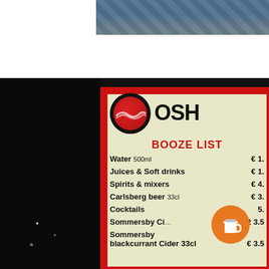[Figure (photo): Top portion of a photo showing people, partially cropped, with blue/denim tones]
[Figure (photo): OSH bar/restaurant menu board photo showing 'BOOZE LIST' with drink items: Water 500ml €1., Juices & Soft drinks €1., Spirits & mixers €4., Carlsberg beer 33cl €3., Cocktails €5., Sommersby Cider €3.5, Sommersby blackcurrant Cider 33cl €3.5. Logo with red circle wave design. Orange coffee cup badge overlay.]